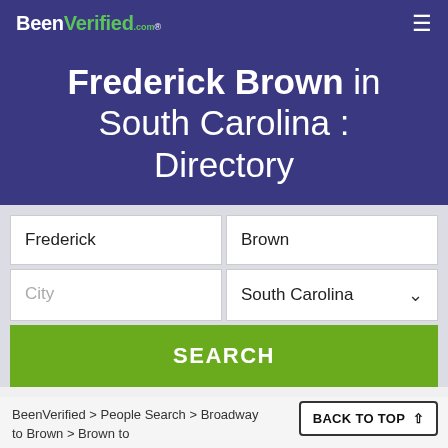BeenVerified.com
Frederick Brown in South Carolina : Directory
[Figure (screenshot): Search form with fields: Frederick, Brown, City, South Carolina dropdown, and SEARCH button]
BACK TO TOP ↑
BeenVerified > People Search > Broadway to Brown > Brown to